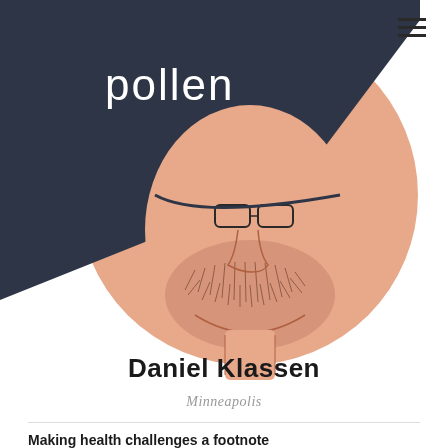[Figure (illustration): Illustrated portrait of a bearded man wearing glasses and a cap, with a peach/salmon circular background. A dark navy triangular shape overlaps the upper-left of the image. The word 'pollen' appears in white lowercase text on the dark shape.]
Daniel Klassen
Minneapolis
Making health challenges a footnote
Dan Klassen, 73, has Parkinson's disease. Despite the challenges he faces on a daily basis—or perhaps because of them—Dan decided to use his software development skills to improve the lives of others. He's developed a